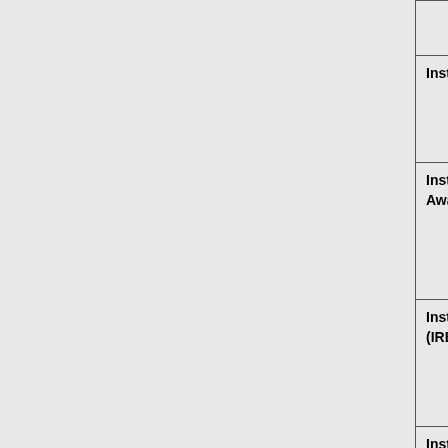| Term | Definition |
| --- | --- |
|  | Costs/Activ… |
| Institutional Business Official | Person wor… That person… the eRA Co… |
| Institutional Development Awards (IDeA) | Institutionall… geographic… Resources … not receive… |
| Institutional Review Board (IRB) | An adminis… recruited to… with which i… modification… |
| Institutional Ruth L. Kirschstein NRSA | See Ruth L… |
| Interagency Edison | See Edison… |
| Integrated Review Group (IRG) | A cluster of… areas. Thes… |
| International Organization | An organiza… from, and re… headquarte… States. |
| Internet Assisted Review (IAR) | Allows revie… Allows Rev… |